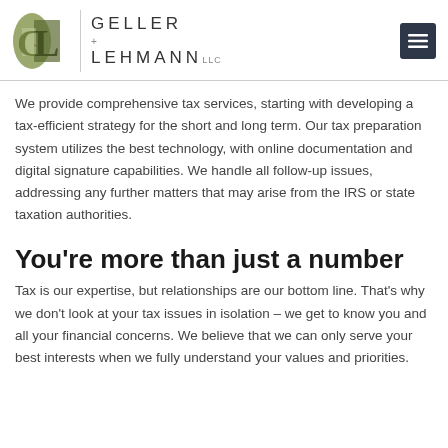GELLER + LEHMANN LLC
We provide comprehensive tax services, starting with developing a tax-efficient strategy for the short and long term. Our tax preparation system utilizes the best technology, with online documentation and digital signature capabilities. We handle all follow-up issues, addressing any further matters that may arise from the IRS or state taxation authorities.
You’re more than just a number
Tax is our expertise, but relationships are our bottom line. That’s why we don’t look at your tax issues in isolation – we get to know you and all your financial concerns. We believe that we can only serve your best interests when we fully understand your values and priorities.